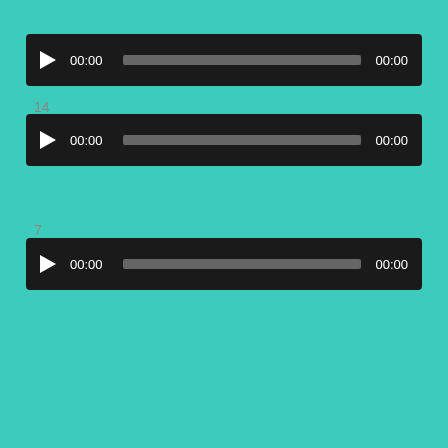[Figure (screenshot): Audio player 1 with play button, 00:00 start time, progress bar, and 00:00 end time on dark background]
14
[Figure (screenshot): Audio player 2 with play button, 00:00 start time, progress bar, and 00:00 end time on dark background]
7
[Figure (screenshot): Audio player 3 with play button, 00:00 start time, progress bar, and 00:00 end time on dark background]